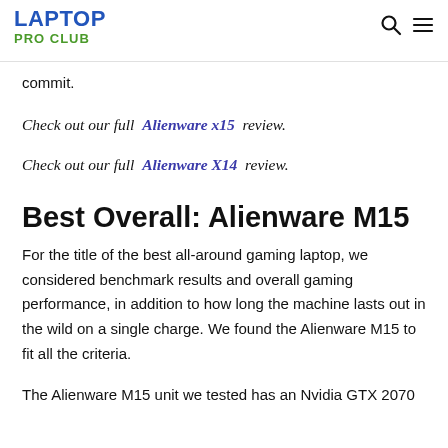LAPTOP PRO CLUB
commit.
Check out our full Alienware x15 review.
Check out our full Alienware X14 review.
Best Overall: Alienware M15
For the title of the best all-around gaming laptop, we considered benchmark results and overall gaming performance, in addition to how long the machine lasts out in the wild on a single charge. We found the Alienware M15 to fit all the criteria.
The Alienware M15 unit we tested has an Nvidia GTX 2070